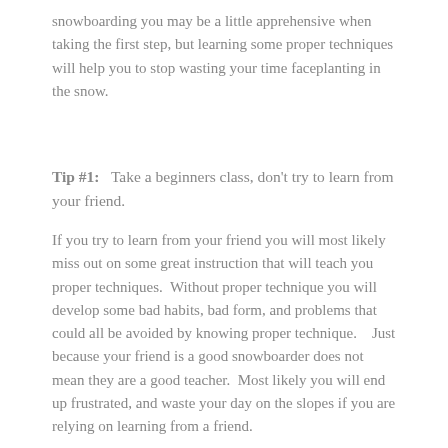snowboarding you may be a little apprehensive when taking the first step, but learning some proper techniques will help you to stop wasting your time faceplanting in the snow.
Tip #1:  Take a beginners class, don't try to learn from your friend.
If you try to learn from your friend you will most likely miss out on some great instruction that will teach you proper techniques.  Without proper technique you will develop some bad habits, bad form, and problems that could all be avoided by knowing proper technique.   Just because your friend is a good snowboarder does not mean they are a good teacher.  Most likely you will end up frustrated, and waste your day on the slopes if you are relying on learning from a friend.
Now that you are signed up for your class, don't be afraid to ask questions.   During your class take advantage of the instructor's